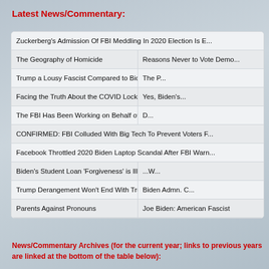Latest News/Commentary:
Zuckerberg's Admission Of FBI Meddling In 2020 Election Is E...
The Geography of Homicide | Reasons Never to Vote Demo...
Trump a Lousy Fascist Compared to Biden & Obama | The P...
Facing the Truth About the COVID Lockdowns | Yes, Biden's...
The FBI Has Been Working on Behalf of Democrat Party | D...
CONFIRMED: FBI Colluded With Big Tech To Prevent Voters F...
Facebook Throttled 2020 Biden Laptop Scandal After FBI Warn...
Biden's Student Loan 'Forgiveness' is Illegal & Unjust... | ...W...
Trump Derangement Won't End With Trump | Biden Admn. C...
Parents Against Pronouns | Joe Biden: American Fascist
News/Commentary Archives (for the current year; links to previous years are linked at the bottom of the table below):